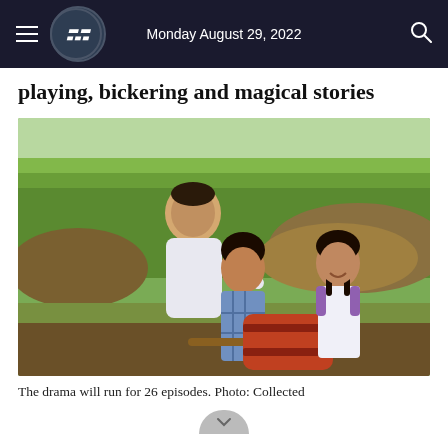Monday August 29, 2022
playing, bickering and magical stories
[Figure (photo): A man in a white shirt pointing with two children — a boy holding a large wooden mallet/drum and a girl smiling — standing in a rural green field setting.]
The drama will run for 26 episodes. Photo: Collected